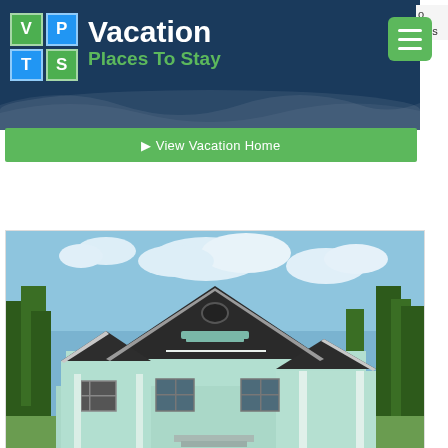[Figure (logo): Vacation Places To Stay (VPTS) logo with colored grid squares V, P, T, S]
Vacation Places To Stay
View Vacation Home
[Figure (photo): Exterior photo of a light green/mint colored vacation home with dark roof, oval window, white trim details, and trees in background under a partly cloudy sky]